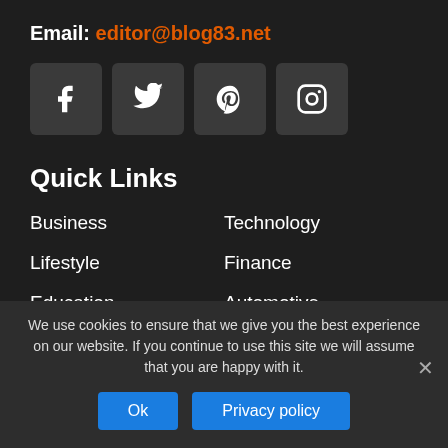Email: editor@blog83.net
[Figure (other): Four social media icon buttons: Facebook, Twitter, Pinterest, Instagram]
Quick Links
Business
Technology
Lifestyle
Finance
Education
Automotive
Real Estate
Travel
We use cookies to ensure that we give you the best experience on our website. If you continue to use this site we will assume that you are happy with it.